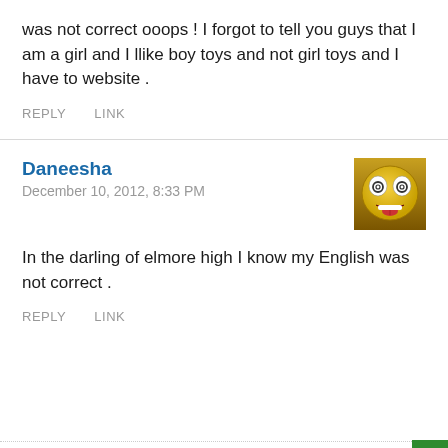was not correct ooops ! I forgot to tell you guys that I am a girl and I llike boy toys and not girl toys and I have to website .
REPLY   LINK
Daneesha
December 10, 2012, 8:33 PM
[Figure (illustration): Smiley face emoji with tongue sticking out, yellow circle face with googly eyes]
In the darling of elmore high I know my English was not correct .
REPLY   LINK